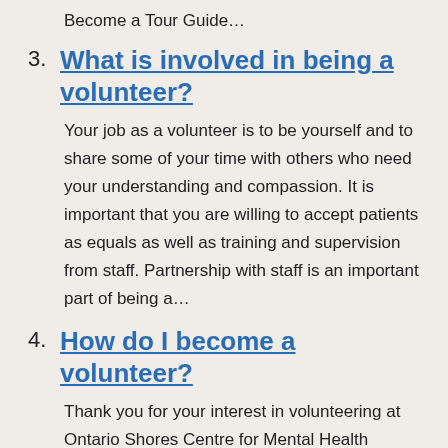Become a Tour Guide…
3. What is involved in being a volunteer?
Your job as a volunteer is to be yourself and to share some of your time with others who need your understanding and compassion. It is important that you are willing to accept patients as equals as well as training and supervision from staff. Partnership with staff is an important part of being a…
4. How do I become a volunteer?
Thank you for your interest in volunteering at Ontario Shores Centre for Mental Health Sciences (Ontario Shores). Please note there is…